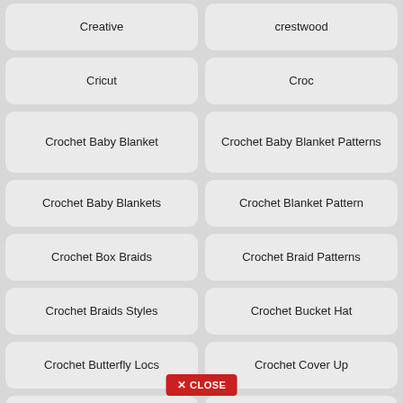Creative
crestwood
Cricut
Croc
Crochet Baby Blanket
Crochet Baby Blanket Patterns
Crochet Baby Blankets
Crochet Blanket Pattern
Crochet Box Braids
Crochet Braid Patterns
Crochet Braids Styles
Crochet Bucket Hat
Crochet Butterfly Locs
Crochet Cover Up
Crochet Faux Locs
Crochet For Beginners
Crochet Hat Pattern Free
Crochet Hat Patterns